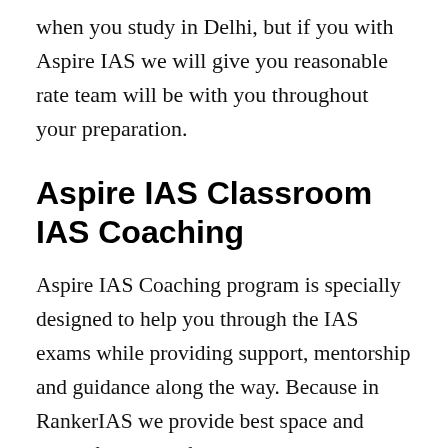when you study in Delhi, but if you with Aspire IAS we will give you reasonable rate team will be with you throughout your preparation.
Aspire IAS Classroom IAS Coaching
Aspire IAS Coaching program is specially designed to help you through the IAS exams while providing support, mentorship and guidance along the way. Because in RankerIAS we provide best space and place, faculty , infrastructure and environment for betterment of every student. Aspire IAS